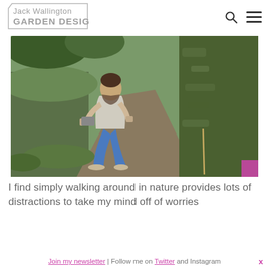Jack Wallington GARDEN DESIGN
[Figure (photo): A man crouching on a dirt path between two large moss-covered earth banks or hedges, photographing something with a phone or small camera. Green foliage in background. Outdoor nature setting.]
I find simply walking around in nature provides lots of distractions to take my mind off of worries
Join my newsletter | Follow me on Twitter and Instagram